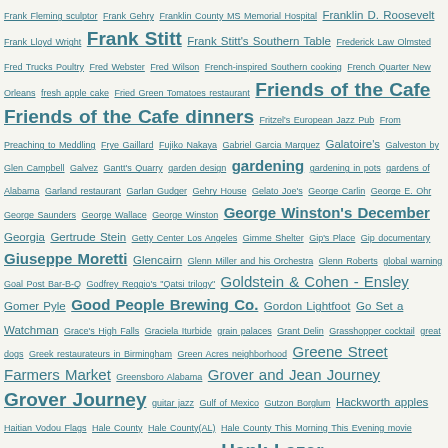Tag cloud index entries F-H including: Frank Fleming sculptor, Frank Gehry, Franklin County MS Memorial Hospital, Franklin D. Roosevelt, Frank Lloyd Wright, Frank Stitt, Frank Stitt's Southern Table, Frederick Law Olmsted, Fred Trucks Poultry, Fred Webster, Fred Wilson, French-inspired Southern cooking, French Quarter New Orleans, fresh apple cake, Fried Green Tomatoes restaurant, Friends of the Cafe, Friends of the Cafe dinners, Fritzel's European Jazz Pub, From Preaching to Meddling, Frye Gaillard, Fujiko Nakaya, Gabriel Garcia Marquez, Galatoire's, Galveston by Glen Campbell, Galvez, Gantt's Quarry, garden design, gardening, gardening in pots, gardens of Alabama, Garland restaurant, Garlan Gudger, Gehry House, Gelato Joe's, George Carlin, George E. Ohr, George Saunders, George Wallace, George Winston, George Winston's December, Georgia, Gertrude Stein, Getty Center Los Angeles, Gimme Shelter, Gip's Place, Gip documentary, Giuseppe Moretti, Glencairn, Glenn Miller and his Orchestra, Glenn Roberts, global warning, Goal Post Bar-B-Q, Godfrey Reggio's "Qatsi trilogy", Goldstein & Cohen - Ensley, Gomer Pyle, Good People Brewing Co., Gordon Lightfoot, Go Set a Watchman, Grace's High Falls, Graciela Iturbide, grain palaces, Grant Delin, Grasshopper cocktail, great dogs, Greek restaurateurs in Birmingham, Green Acres neighborhood, Greene Street Farmers Market, Greensboro Alabama, Grover and Jean Journey, Grover Journey, guitar jazz, Gulf of Mexico, Gutzon Borglum, Hackworth apples, Haitian Vodou Flags, Hale County, Hale County(AL), Hale County This Morning This Evening movie, Hamm's Pottery Alabama, Hanceville, handkerchiefs, Hank Lazer, Harmony Natural Foods, Harold Pinter, Harper Lee, Harrison Farms in Chilton County, Haruki Murakami, Harvard Graduate School of Design, Harvard University, Havana (AL) Methodist Church, Haven, Hazel the Delta Rambler, Heart of Darkness, Hee Haw, Heirloom Harvest, heirloom roses, Helen and Robert Cargo, Helen Keller, Helen Keller statue in Statuary Hall